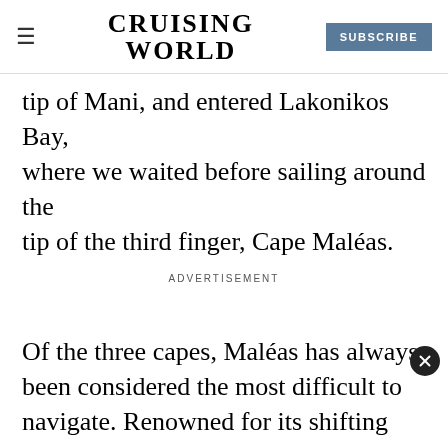CRUISING WORLD | SUBSCRIBE
tip of Mani, and entered Lakonikos Bay, where we waited before sailing around the tip of the third finger, Cape Maléas.
ADVERTISEMENT
Of the three capes, Maléas has always been considered the most difficult to navigate. Renowned for its shifting winds and nearby currents, it's been called the Cape Horn of Greece. It was infamous even back in the days of Odysseus. In fact, according to Homer, it was Odysseus'